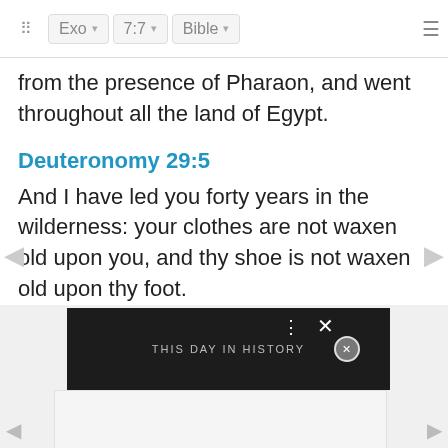Exo  7:7  Bible
from the presence of Pharaon, and went throughout all the land of Egypt.
Deuteronomy 29:5
And I have led you forty years in the wilderness: your clothes are not waxen old upon you, and thy shoe is not waxen old upon thy foot.
[Figure (screenshot): THIS DAY IN HISTORY video banner advertisement with dark background, three-dot menu, X close button, and circular X overlay button]